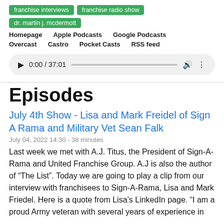franchise interviews
franchise radio show
dr. martin j. mcdermott
Homepage  Apple Podcasts  Google Podcasts  Overcast  Castro  Pocket Casts  RSS feed
[Figure (other): Audio player showing 0:00 / 37:01 with play button, progress bar, volume and more icons]
Episodes
July 4th Show - Lisa and Mark Freidel of Sign A Rama and Military Vet Sean Falk
July 04, 2022 14:30 - 38 minutes
Last week we met with A.J. Titus, the President of Sign-A-Rama and United Franchise Group.  A.J is also the author of “The List”.  Today we are going to play a clip from our interview with franchisees to Sign-A-Rama, Lisa and Mark Friedel.  Here is a quote from Lisa’s LinkedIn page.  “I am a proud Army veteran with several years of experience in